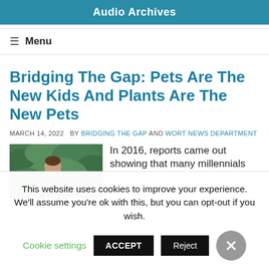Audio Archives
≡ Menu
Bridging The Gap: Pets Are The New Kids And Plants Are The New Pets
MARCH 14, 2022   BY BRIDGING THE GAP AND WORT NEWS DEPARTMENT
[Figure (photo): Photo of a person near green foliage/plants]
In 2016, reports came out showing that many millennials
This website uses cookies to improve your experience. We'll assume you're ok with this, but you can opt-out if you wish. Cookie settings  ACCEPT  Reject